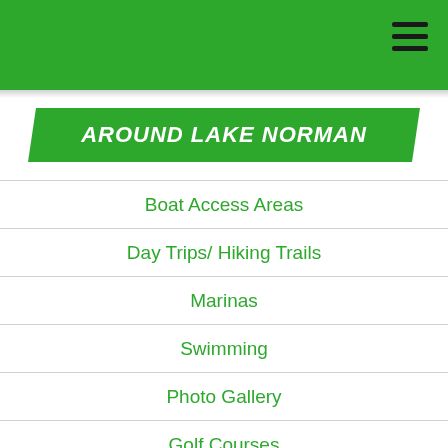AROUND LAKE NORMAN
Boat Access Areas
Day Trips/ Hiking Trails
Marinas
Swimming
Photo Gallery
Golf Courses
Webcams
Hospitals
Historical Sites